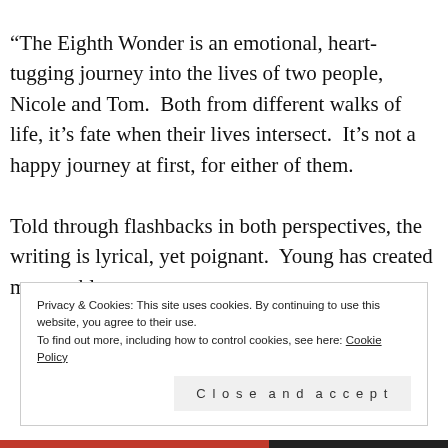“The Eighth Wonder is an emotional, heart-tugging journey into the lives of two people, Nicole and Tom.  Both from different walks of life, it’s fate when their lives intersect.  It’s not a happy journey at first, for either of them.
Told through flashbacks in both perspectives, the writing is lyrical, yet poignant.  Young has created memorable,
Privacy & Cookies: This site uses cookies. By continuing to use this website, you agree to their use.
To find out more, including how to control cookies, see here: Cookie Policy
Close and accept